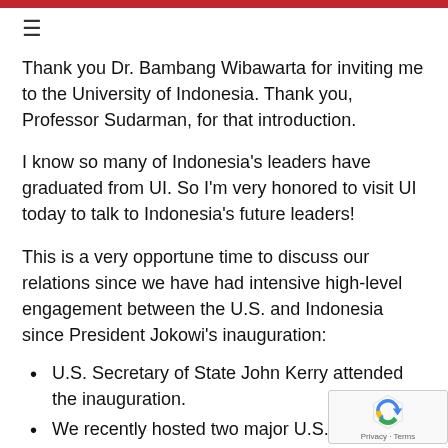≡
Thank you Dr. Bambang Wibawarta for inviting me to the University of Indonesia.  Thank you, Professor Sudarman, for that introduction.
I know so many of Indonesia's leaders have graduated from UI.  So I'm very honored to visit UI today to talk to Indonesia's future leaders!
This is a very opportune time to discuss our relations since we have had intensive high-level engagement between the U.S. and Indonesia since President Jokowi's inauguration:
U.S. Secretary of State John Kerry attended the inauguration.
We recently hosted two major U.S. business delegations—the 20/20 trade delegation who